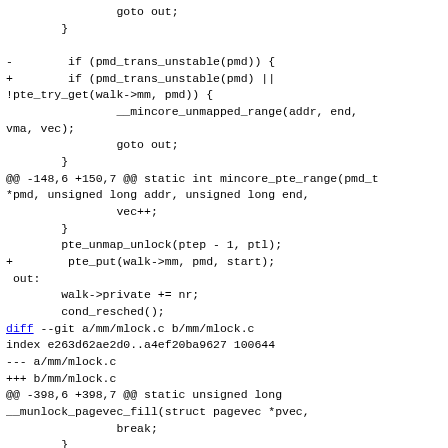goto out;
        }

-        if (pmd_trans_unstable(pmd)) {
+        if (pmd_trans_unstable(pmd) ||
!pte_try_get(walk->mm, pmd)) {
                __mincore_unmapped_range(addr, end,
vma, vec);
                goto out;
        }
@@ -148,6 +150,7 @@ static int mincore_pte_range(pmd_t
*pmd, unsigned long addr, unsigned long end,
                vec++;
        }
        pte_unmap_unlock(ptep - 1, ptl);
+        pte_put(walk->mm, pmd, start);
 out:
        walk->private += nr;
        cond_resched();
diff --git a/mm/mlock.c b/mm/mlock.c
index e263d62ae2d0..a4ef20ba9627 100644
--- a/mm/mlock.c
+++ b/mm/mlock.c
@@ -398,6 +398,7 @@ static unsigned long
__munlock_pagevec_fill(struct pagevec *pvec,
                break;
        }
        pte_unmap_unlock(pte, ptl);
+        pte_put(vma->vm_mm, pte_to_pmd(pte), start);
        return start;